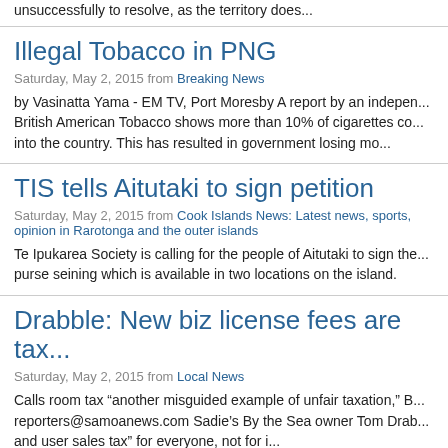unsuccessfully to resolve, as the territory does...
Illegal Tobacco in PNG
Saturday, May 2, 2015 from Breaking News
by Vasinatta Yama - EM TV, Port Moresby A report by an independent study commissioned by British American Tobacco shows more than 10% of cigarettes co... into the country. This has resulted in government losing mo...
TIS tells Aitutaki to sign petition
Saturday, May 2, 2015 from Cook Islands News: Latest news, sports, opinion in Rarotonga and the outer islands
Te Ipukarea Society is calling for the people of Aitutaki to sign the... purse seining which is available in two locations on the island.
Drabble: New biz license fees are tax...
Saturday, May 2, 2015 from Local News
Calls room tax “another misguided example of unfair taxation,” B... reporters@samoanews.com Sadie’s By the Sea owner Tom Drab... and user sales tax” for everyone, not for i...